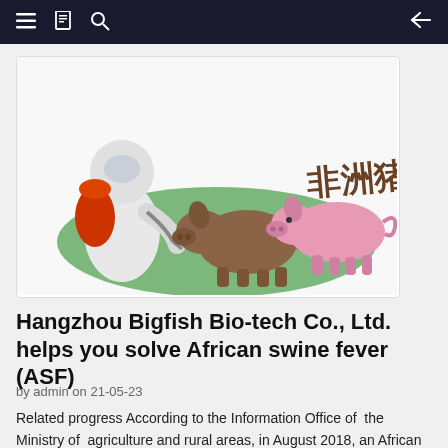Navigation bar with menu, bookmark, search, and back icons
[Figure (illustration): Illustration of a person in a white hazmat suit spraying disinfectant at two pigs (one brown, one pink) against a green background, with Chinese text '非洲猪瘟' (African Swine Fever) in brown characters above the pigs.]
Hangzhou Bigfish Bio-tech Co., Ltd. helps you solve African swine fever (ASF)
by admin on 21-05-23
Related progress According to the Information Office of the Ministry of agriculture and rural areas, in August 2018, an African swine plague occurred in Shenbei New District, Shenyang City, Liaoning Province, which is the first African swine plague in China. As of Januar